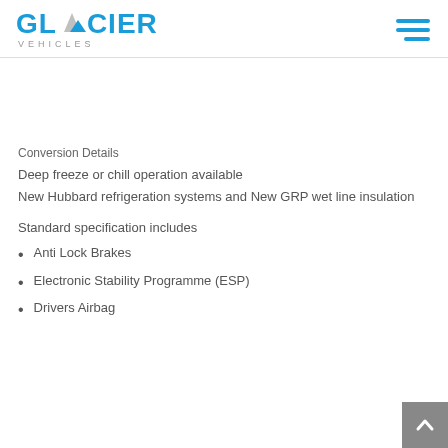Glacier Vehicles
Conversion Details
Deep freeze or chill operation available
New Hubbard refrigeration systems and New GRP wet line insulation
Standard specification includes
Anti Lock Brakes
Electronic Stability Programme (ESP)
Drivers Airbag